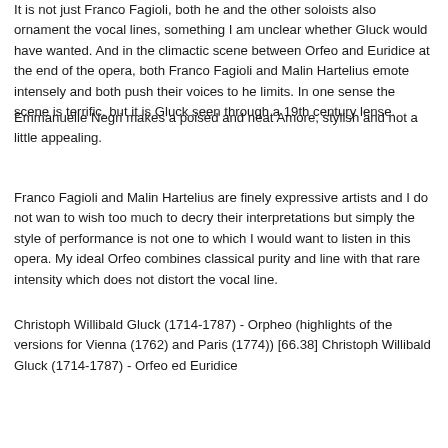It is not just Franco Fagioli, both he and the other soloists also ornament the vocal lines, something I am unclear whether Gluck would have wanted. And in the climactic scene between Orfeo and Euridice at the end of the opera, both Franco Fagioli and Malin Hartelius emote  intensely and both push their voices to he limits. In one sense the scene is terrific, but it is Gluck seen through a 19th century lense.
Emmanuelle Negri makes a poised and neat Amore, stylish and not a little appealing.
Franco Fagioli and Malin Hartelius are finely expressive artists and I do not wan to wish too much to decry their interpretations but simply the style of performance is not one to which I would want to listen in this opera. My ideal Orfeo combines classical purity and line with that rare intensity which does not distort the vocal line.
Christoph Willibald Gluck (1714-1787) - Orpheo (highlights of the versions for Vienna (1762) and Paris (1774)) [66.38] Christoph Willibald Gluck (1714-1787) - Orfeo ed Euridice